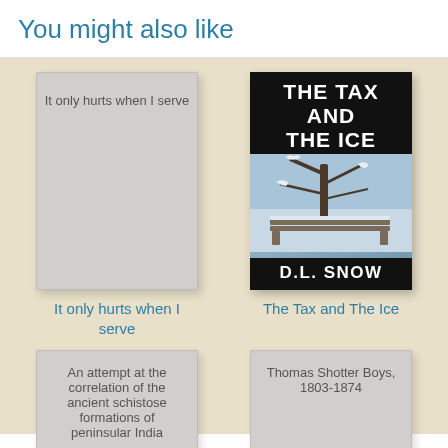You might also like
[Figure (illustration): Book cover placeholder for 'It only hurts when I serve' — light gray cover with title text]
[Figure (illustration): Book cover for 'The Tax and The Ice' by D.L. Snow — black cover with white bold title text and snowy park bench photo]
It only hurts when I serve
The Tax and The Ice
[Figure (illustration): Book cover placeholder for 'An attempt at the correlation of the ancient schistose formations of peninsular India' — light gray cover with title text]
[Figure (illustration): Book cover placeholder for 'Thomas Shotter Boys, 1803-1874' — light gray cover with title text]